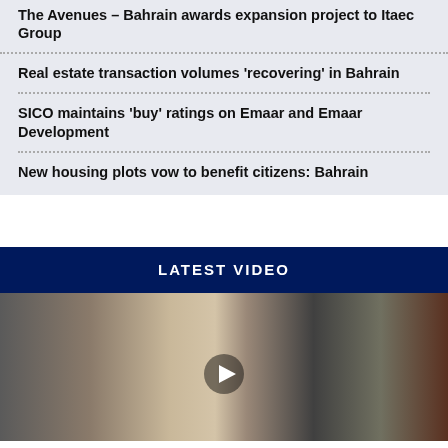The Avenues – Bahrain awards expansion project to Itaec Group
Real estate transaction volumes 'recovering' in Bahrain
SICO maintains 'buy' ratings on Emaar and Emaar Development
New housing plots vow to benefit citizens: Bahrain
LATEST VIDEO
[Figure (photo): Video thumbnail showing a man in a suit seated in an office with bookshelves and flowers, with a play button overlay]